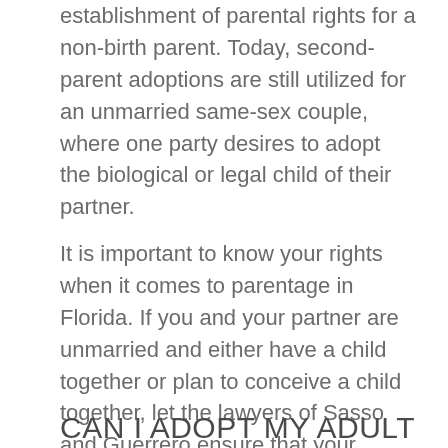establishment of parental rights for a non-birth parent. Today, second-parent adoptions are still utilized for an unmarried same-sex couple, where one party desires to adopt the biological or legal child of their partner.
It is important to know your rights when it comes to parentage in Florida. If you and your partner are unmarried and either have a child together or plan to conceive a child together, let the lawyers of Sasso and Guerrero ensure that your parental rights are properly established and your relationship with your child protected.
CAN I ADOPT MY ADULT